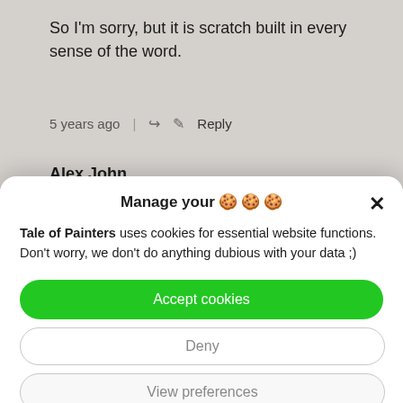So I'm sorry, but it is scratch built in every sense of the word.
5 years ago  |  ↪  ✎  Reply
Alex John...
Manage your 🍪🍪🍪
Tale of Painters uses cookies for essential website functions. Don't worry, we don't do anything dubious with your data ;)
Accept cookies
Deny
View preferences